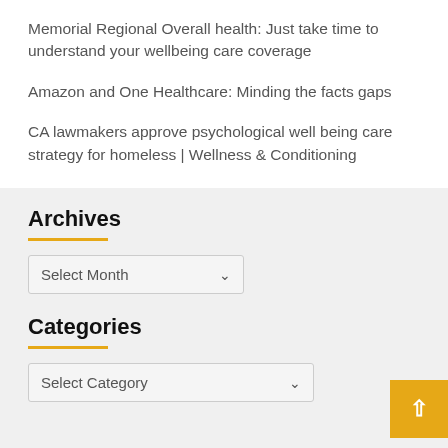Memorial Regional Overall health: Just take time to understand your wellbeing care coverage
Amazon and One Healthcare: Minding the facts gaps
CA lawmakers approve psychological well being care strategy for homeless | Wellness & Conditioning
Archives
Select Month
Categories
Select Category